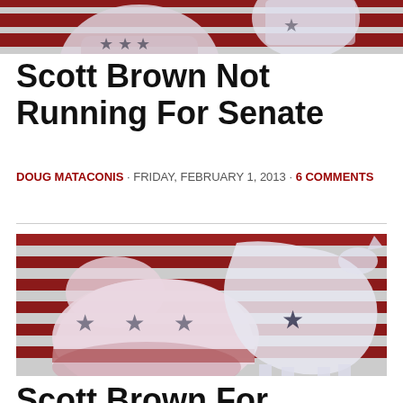[Figure (photo): Cropped top portion of an image showing Republican elephant and Democratic donkey symbols against an American flag background]
Scott Brown Not Running For Senate
DOUG MATACONIS · FRIDAY, FEBRUARY 1, 2013 · 6 COMMENTS
[Figure (photo): Full image of Republican elephant logo and Democratic donkey silhouette overlaid on an American flag background]
Scott Brown For